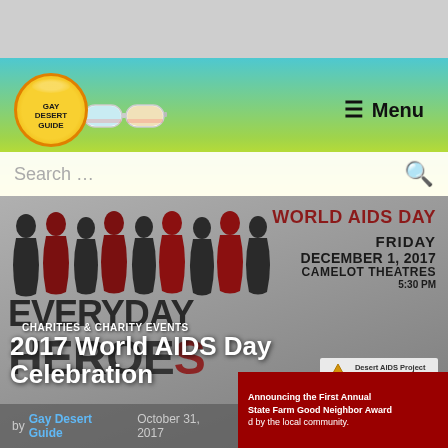[Figure (screenshot): Gay Desert Guide website screenshot showing navigation header with logo, menu button, search bar, and a World AIDS Day 2017 event article page]
GAY DESERT GUIDE | ☰ Menu
Search …
[Figure (photo): World AIDS Day event poster showing silhouettes, EVERYDAY HEROES text, WORLD AIDS DAY, FRIDAY DECEMBER 1, 2017, CAMELOT THEATRES, Desert AIDS Project logo]
CHARITIES & CHARITY EVENTS
2017 World AIDS Day Celebration
by Gay Desert Guide   October 31, 2017